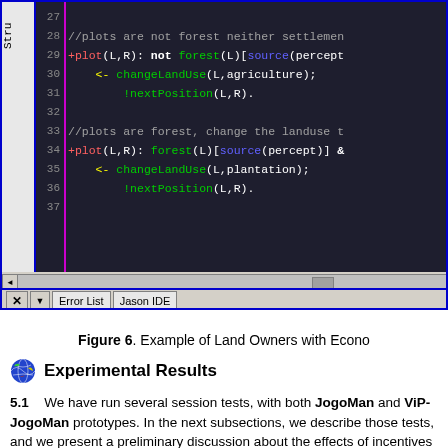[Figure (screenshot): IDE screenshot showing AgentSpeak code lines 27-37 with syntax highlighting. Code includes comments about plots (forest/settlement/agriculture/plantation), +plot rules, changeLandUse and nextPosition predicates. Bottom shows Error List and Jason IDE tabs, status bar showing '33,53 9%' and 'AgentSpeak parsing complete, 0 error(s)'.]
Figure 6. Example of Land Owners with Econo
Experimental Results
5.1  We have run several session tests, with both JogoMan and ViP-JogoMan prototypes. In the next subsections, we describe those tests, and we present a preliminary discussion about the effects of incentives into land owners...